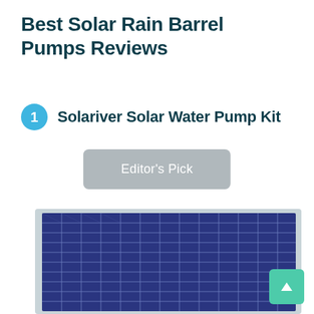Best Solar Rain Barrel Pumps Reviews
1 Solariver Solar Water Pump Kit
Editor's Pick
[Figure (photo): A solar panel (polycrystalline photovoltaic panel) with blue cells and a white/silver aluminum frame, viewed at a slight angle from above.]